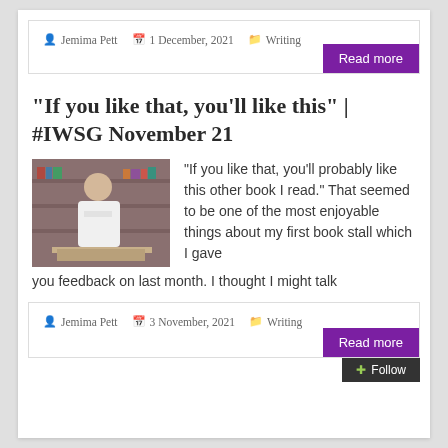Jemima Pett  1 December, 2021  Writing
Read more
“If you like that, you’ll like this” | #IWSG November 21
[Figure (photo): Photo of a person standing at a book stall indoors]
“If you like that, you’ll probably like this other book I read.” That seemed to be one of the most enjoyable things about my first book stall which I gave you feedback on last month. I thought I might talk
Jemima Pett  3 November, 2021  Writing
Read more
Follow